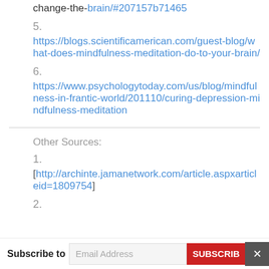change-the-brain/#207157b71465
5.
https://blogs.scientificamerican.com/guest-blog/what-does-mindfulness-meditation-do-to-your-brain/
6.
https://www.psychologytoday.com/us/blog/mindfulness-in-frantic-world/201110/curing-depression-mindfulness-meditation
Other Sources:
1.
[http://archinte.jamanetwork.com/article.aspxarticleid=1809754]
2.
Subscribe to  Email Address  SUBSCRIBE